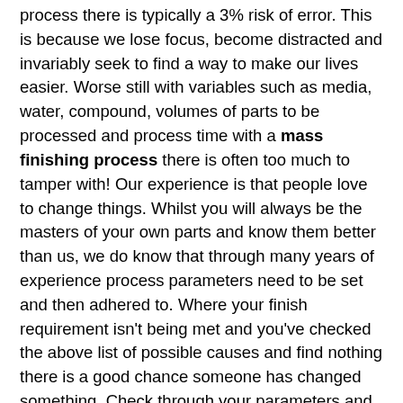process there is typically a 3% risk of error.  This is because we lose focus, become distracted and invariably seek to find a way to make our lives easier. Worse still with variables such as media, water, compound, volumes of parts to be processed and process time with a mass finishing process there is often too much to tamper with!  Our experience is that people love to change things.  Whilst you will always be the masters of your own parts and know them better than us, we do know that through many years of experience process parameters need to be set and then adhered to.  Where your finish requirement isn't being met and you've checked the above list of possible causes and find nothing there is a good chance someone has changed something.  Check through your parameters and ensure they are being followed. If they are and you still have an issue give us a call and we'll visit to see how we can help.  If they aren't and you find something that has changed, simply change it back and your problem should